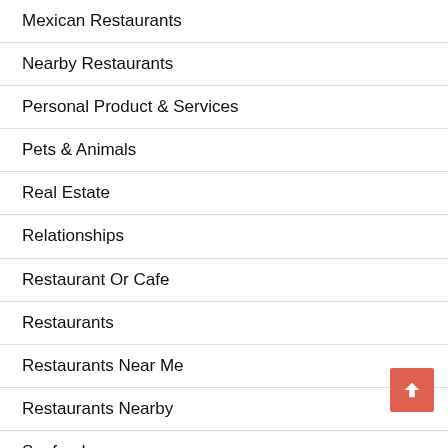Mexican Restaurants
Nearby Restaurants
Personal Product & Services
Pets & Animals
Real Estate
Relationships
Restaurant Or Cafe
Restaurants
Restaurants Near Me
Restaurants Nearby
Seafood
Seafood and Steak
Seafood Restaurants
Seafood Restaurants Near Me